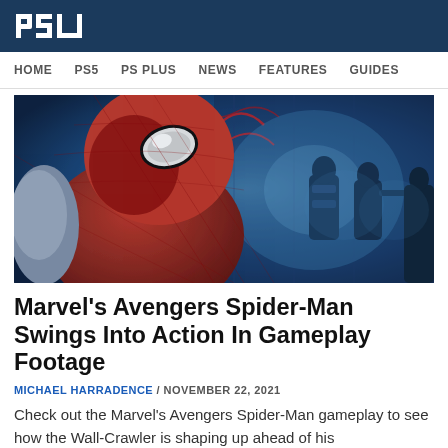PSU
HOME  PS5  PS PLUS  NEWS  FEATURES  GUIDES
[Figure (photo): Spider-Man character in red suit crouching, looking down, with armored enemies visible in blue-lit background — gameplay screenshot from Marvel's Avengers]
Marvel's Avengers Spider-Man Swings Into Action In Gameplay Footage
MICHAEL HARRADENCE / NOVEMBER 22, 2021
Check out the Marvel's Avengers Spider-Man gameplay to see how the Wall-Crawler is shaping up ahead of his